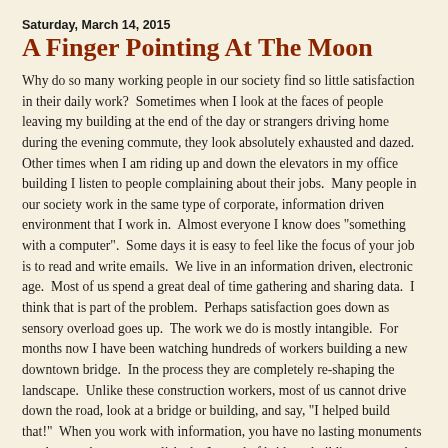Saturday, March 14, 2015
A Finger Pointing At The Moon
Why do so many working people in our society find so little satisfaction in their daily work?  Sometimes when I look at the faces of people leaving my building at the end of the day or strangers driving home during the evening commute, they look absolutely exhausted and dazed.  Other times when I am riding up and down the elevators in my office building I listen to people complaining about their jobs.  Many people in our society work in the same type of corporate, information driven environment that I work in.  Almost everyone I know does "something with a computer".  Some days it is easy to feel like the focus of your job is to read and write emails.  We live in an information driven, electronic age.  Most of us spend a great deal of time gathering and sharing data.  I think that is part of the problem.  Perhaps satisfaction goes down as sensory overload goes up.  The work we do is mostly intangible.  For months now I have been watching hundreds of workers building a new downtown bridge.  In the process they are completely re-shaping the landscape.  Unlike these construction workers, most of us cannot drive down the road, look at a bridge or building, and say, "I helped build that!"  When you work with information, you have no lasting monuments to what you have accomplished.   Instead of bridges, buildings, or works of art, we create spreadsheets and databases.  It's impossible to take a picture of these things and hang them on the wall.  Our accomplishments and successes are fleeting.  The flow of data and